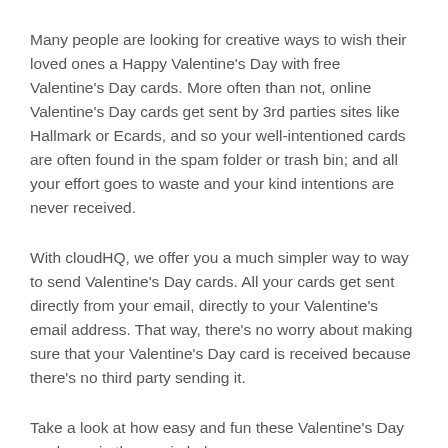Many people are looking for creative ways to wish their loved ones a Happy Valentine's Day with free Valentine's Day cards. More often than not, online Valentine's Day cards get sent by 3rd parties sites like Hallmark or Ecards, and so your well-intentioned cards are often found in the spam folder or trash bin; and all your effort goes to waste and your kind intentions are never received.
With cloudHQ, we offer you a much simpler way to way to send Valentine's Day cards. All your cards get sent directly from your email, directly to your Valentine's email address. That way, there's no worry about making sure that your Valentine's Day card is received because there's no third party sending it.
Take a look at how easy and fun these Valentine's Day cards are in the movie below: